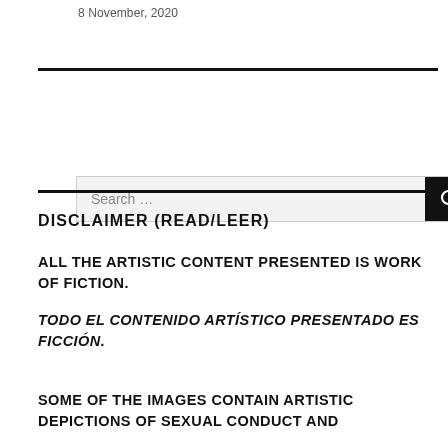8 November, 2020
[Figure (other): Search bar UI element with text input and search button]
DISCLAIMER (READ/LEER)
ALL THE ARTISTIC CONTENT PRESENTED IS WORK OF FICTION.
TODO EL CONTENIDO ARTÍSTICO PRESENTADO ES FICCIÓN.
SOME OF THE IMAGES CONTAIN ARTISTIC DEPICTIONS OF SEXUAL CONDUCT AND